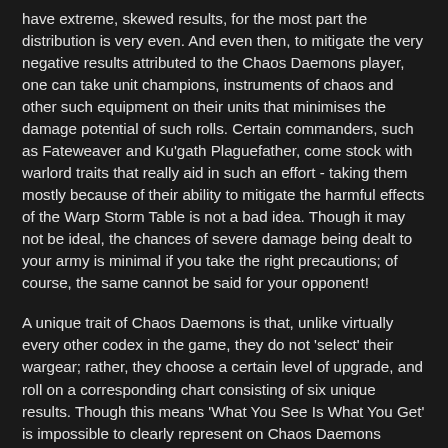have extreme, skewed results, for the most part the distribution is very even. And even then, to mitigate the very negative results attributed to the Chaos Daemons player, one can take unit champions, instruments of chaos and other such equipment on their units that minimises the damage potential of such rolls. Certain commanders, such as Fateweaver and Ku'gath Plaguefather, come stock with warlord traits that really aid in such an effort - taking them mostly because of their ability to mitigate the harmful effects of the Warp Storm Table is not a bad idea. Though it may not be ideal, the chances of severe damage being dealt to your army is minimal if you take the right precautions; of course, the same cannot be said for your opponent!
A unique trait of Chaos Daemons is that, unlike virtually every other codex in the game, they do not 'select' their wargear; rather, they choose a certain level of upgrade, and roll on a corresponding chart consisting of six unique results. Though this means 'What You See Is What You Get' is impossible to clearly represent on Chaos Daemons miniatures, and strategies dependent on certain wargear combinations are luck based at best, there is less of a theme